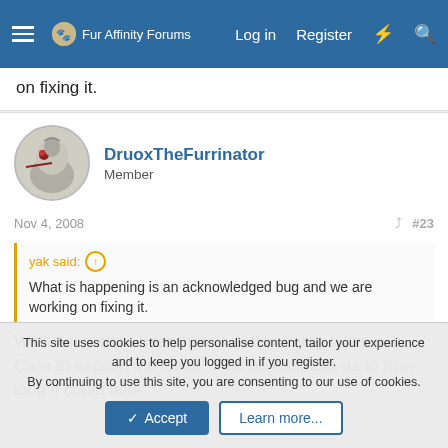Fur Affinity Forums | Log in | Register
on fixing it.
DruoxTheFurrinator
Member
Nov 4, 2008   #23
yak said: ↑
What is happening is an acknowledged bug and we are working on fixing it.
Well, I'm glad to hear there's action being taken =D Care to explain the issue? And an estimate as to how long it could take
This site uses cookies to help personalise content, tailor your experience and to keep you logged in if you register.
By continuing to use this site, you are consenting to our use of cookies.